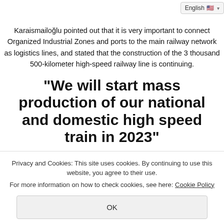English 🇺🇸 ▾ aid
Karaismailoğlu pointed out that it is very important to connect Organized Industrial Zones and ports to the main railway network as logistics lines, and stated that the construction of the 3 thousand 500-kilometer high-speed railway line is continuing.
"We will start mass production of our national and domestic high speed train in 2023"
Underlining that they attach great importance to the national
Privacy and Cookies: This site uses cookies. By continuing to use this website, you agree to their use. For more information on how to check cookies, see here: Cookie Policy
OK
of trouble in metro cars in Istanbul. We had difficulties in